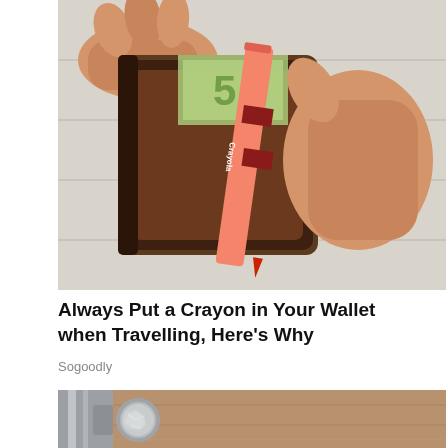[Figure (photo): Hands holding open a brown leather wallet with a red Crayola crayon inserted alongside currency (Euro bill visible), on a white wooden surface background.]
Always Put a Crayon in Your Wallet when Travelling, Here's Why
Sogoodly
[Figure (photo): Close-up of a door handle/lock with a piece of crumpled aluminum foil placed on the door knob.]